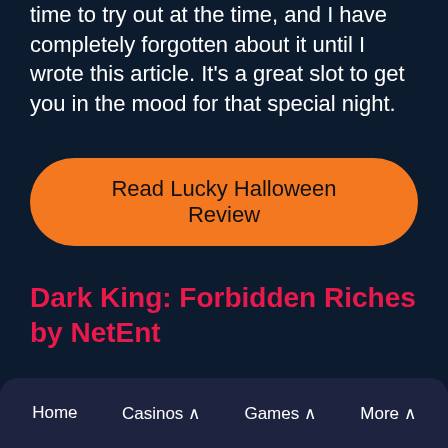time to try out at the time, and I have completely forgotten about it until I wrote this article. It's a great slot to get you in the mood for that special night.
[Figure (other): Orange rounded button with text 'Read Lucky Halloween Review']
Dark King: Forbidden Riches by NetEnt
Home   Casinos ^   Games ^   More ^